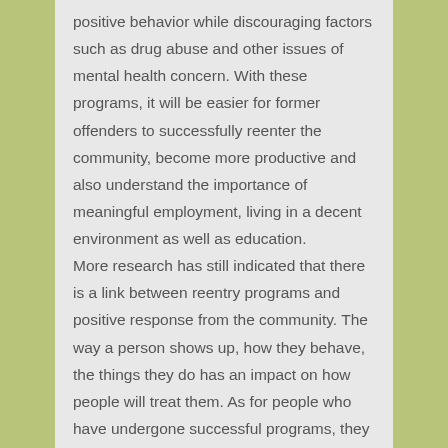positive behavior while discouraging factors such as drug abuse and other issues of mental health concern. With these programs, it will be easier for former offenders to successfully reenter the community, become more productive and also understand the importance of meaningful employment, living in a decent environment as well as education. More research has still indicated that there is a link between reentry programs and positive response from the community. The way a person shows up, how they behave, the things they do has an impact on how people will treat them. As for people who have undergone successful programs, they come out with a positive attitude. They know how to behave when they are out there and how to avoid stigmatization. For most people who do not undertake programs, they could be stigmatized and the result could be them going back to their old criminal ways. This is why such programs are really essential.